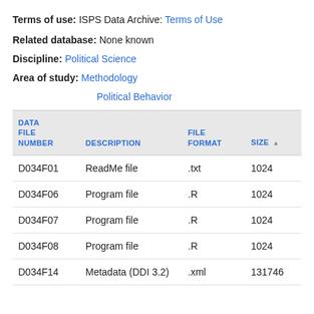Terms of use: ISPS Data Archive: Terms of Use
Related database: None known
Discipline: Political Science
Area of study: Methodology
Political Behavior
| DATA FILE NUMBER | DESCRIPTION | FILE FORMAT | SIZE | FILE |
| --- | --- | --- | --- | --- |
| D034F01 | ReadMe file | .txt | 1024 | Down |
| D034F06 | Program file | .R | 1024 | Down |
| D034F07 | Program file | .R | 1024 | Down |
| D034F08 | Program file | .R | 1024 | Down |
| D034F14 | Metadata (DDI 3.2) | .xml | 131746 | Down |